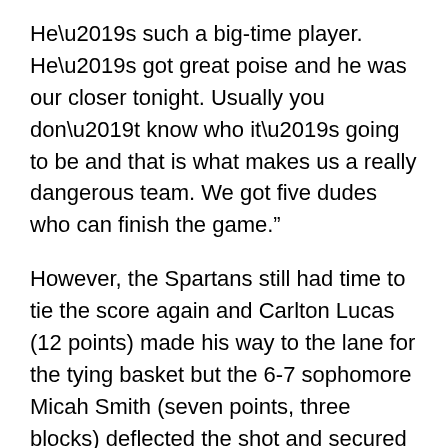He’s such a big-time player. He’s got great poise and he was our closer tonight. Usually you don’t know who it’s going to be and that is what makes us a really dangerous team. We got five dudes who can finish the game.”
However, the Spartans still had time to tie the score again and Carlton Lucas (12 points) made his way to the lane for the tying basket but the 6-7 sophomore Micah Smith (seven points, three blocks) deflected the shot and secured the ball with just 1.3 ticks left. Smith did miss both free throws but Lucas’ heave from behind half court fell short of the rim.
“That was a great environment and I love our guys getting that type of big-game experience especially